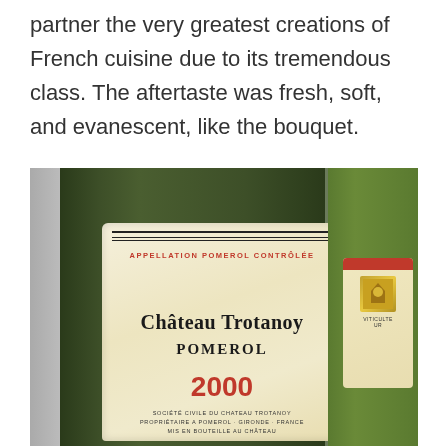partner the very greatest creations of French cuisine due to its tremendous class. The aftertaste was fresh, soft, and evanescent, like the bouquet.
[Figure (photo): Close-up photograph of a Château Trotanoy Pomerol 2000 wine bottle label. The cream-colored label shows 'APPELLATION POMEROL CONTRÔLÉE' in red lettering, 'CHÂTEAU TROTANOY' and 'POMEROL' in black, '2000' in red, and 'SOCIÉTÉ CIVILE DU CHATEAU TROTANOY - PROPRIÉTAIRE A POMEROL - GIRONDE - FRANCE' at the bottom. A second bottle is partially visible on the right.]